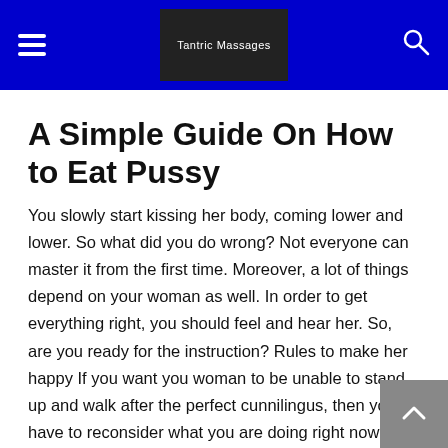Tantric Massages
A Simple Guide On How to Eat Pussy
You slowly start kissing her body, coming lower and lower. So what did you do wrong? Not everyone can master it from the first time. Moreover, a lot of things depend on your woman as well. In order to get everything right, you should feel and hear her. So, are you ready for the instruction? Rules to make her happy If you want you woman to be unable to stand up and walk after the perfect cunnilingus, then you have to reconsider what you are doing right now and change the scheme. First and the main advise that you will get from an expert of pussy eating is that you have to